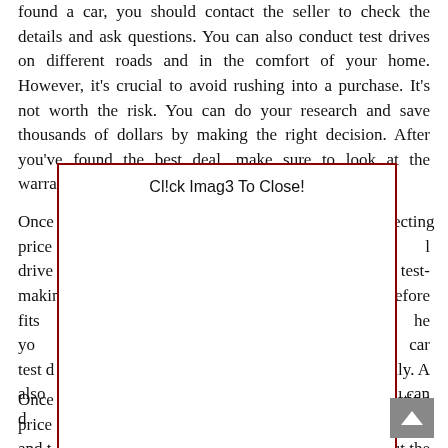found a car, you should contact the seller to check the details and ask questions. You can also conduct test drives on different roads and in the comfort of your home. However, it's crucial to avoid rushing into a purchase. It's not worth the risk. You can do your research and save thousands of dollars by making the right decision. After you've found the best deal, make sure to look at the warranty and the overall condition of the ca
[Figure (screenshot): A modal overlay dialog box with a dark red border on a white background, containing the text 'Cl!ck Imag3 To Close!' at the top. The box overlays body text on the page, obscuring most of it. A scroll-to-top button (chevron/arrow icon) appears in the bottom-right corner.]
Once ecting price d l test- drive efore makin he car fits yo ily. A test d u can also d
Once ecting price d uc and t ut the